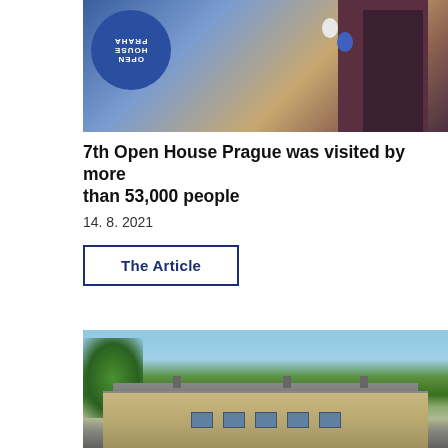[Figure (photo): Top portion of image showing Open House Praha circular blue logo sign mounted on a yellow wall, with balloons and a dark doorway entrance visible]
7th Open House Prague was visited by more than 53,000 people
14. 8. 2021
The Article
[Figure (photo): Photograph of a large historic building or villa with a mansard-style roof, chimneys, multiple windows, and green trees in front against a blue sky]